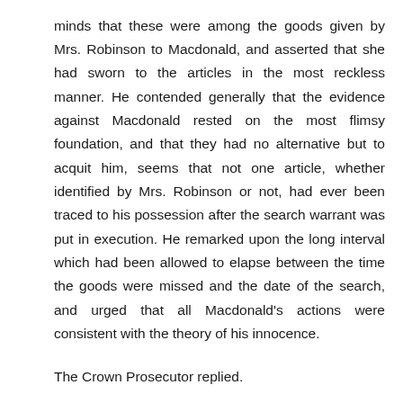minds that these were among the goods given by Mrs. Robinson to Macdonald, and asserted that she had sworn to the articles in the most reckless manner. He contended generally that the evidence against Macdonald rested on the most flimsy foundation, and that they had no alternative but to acquit him, seems that not one article, whether identified by Mrs. Robinson or not, had ever been traced to his possession after the search warrant was put in execution. He remarked upon the long interval which had been allowed to elapse between the time the goods were missed and the date of the search, and urged that all Macdonald's actions were consistent with the theory of his innocence.
The Crown Prosecutor replied.